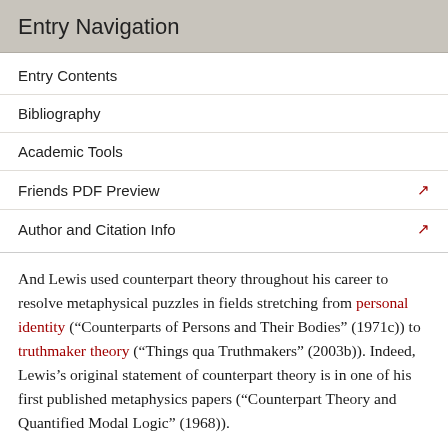Entry Navigation
Entry Contents
Bibliography
Academic Tools
Friends PDF Preview
Author and Citation Info
And Lewis used counterpart theory throughout his career to resolve metaphysical puzzles in fields stretching from personal identity (“Counterparts of Persons and Their Bodies” (1971c)) to truthmaker theory (“Things qua Truthmakers” (2003b)). Indeed, Lewis’s original statement of counterpart theory is in one of his first published metaphysics papers (“Counterpart Theory and Quantified Modal Logic” (1968)).
But the canonical statement and defence of both modal realism and counterpart theory is in On the Plurality of